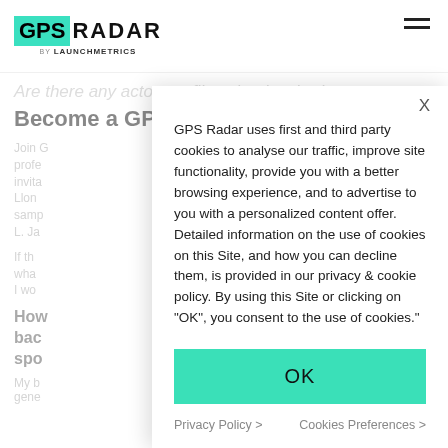GPS RADAR by LAUNCHMETRICS
Are there any actors or films that inspired you to
Become a GPS Radar member
Join G... profe... invita... Llon... samp... L. Ja...
If th... wha... I wo...
How back spo
My b... gene...
GPS Radar uses first and third party cookies to analyse our traffic, improve site functionality, provide you with a better browsing experience, and to advertise to you with a personalized content offer. Detailed information on the use of cookies on this Site, and how you can decline them, is provided in our privacy & cookie policy. By using this Site or clicking on "OK", you consent to the use of cookies."
OK
Privacy Policy >
Cookies Preferences >